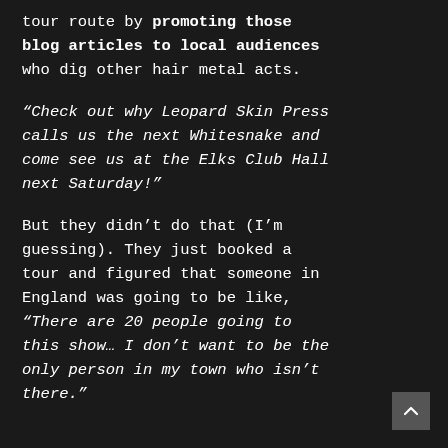tour route by promoting those blog articles to local audiences who dig other hair metal acts.
“Check out why Leopard Skin Press calls us the next Whitesnake and come see us at the Elks Club Hall next Saturday!”
But they didn’t do that (I’m guessing). They just booked a tour and figured that someone in England was going to be like, “There are 20 people going to this show… I don’t want to be the only person in my town who isn’t there.”